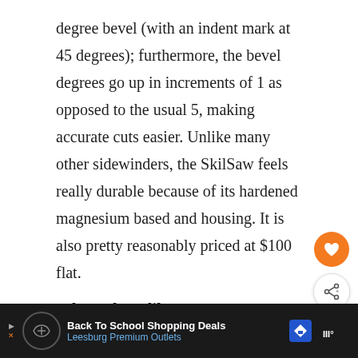degree bevel (with an indent mark at 45 degrees); furthermore, the bevel degrees go up in increments of 1 as opposed to the usual 5, making accurate cuts easier. Unlike many other sidewinders, the SkilSaw feels really durable because of its hardened magnesium based and housing. It is also pretty reasonably priced at $100 flat.
What I don't like:
There is no rafter hook, so working on rafters
[Figure (infographic): Orange circular heart/favorite button and white circular share button with share icon]
[Figure (infographic): WHAT'S NEXT banner with circular saw image and text 'Circular Saw Basics']
[Figure (infographic): Advertisement bar: Back To School Shopping Deals - Leesburg Premium Outlets]